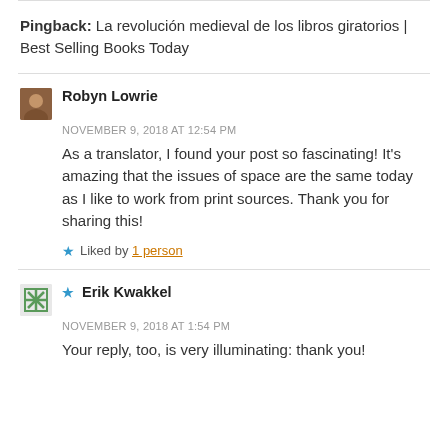Pingback: La revolución medieval de los libros giratorios | Best Selling Books Today
Robyn Lowrie
NOVEMBER 9, 2018 AT 12:54 PM
As a translator, I found your post so fascinating! It's amazing that the issues of space are the same today as I like to work from print sources. Thank you for sharing this!
Liked by 1 person
★ Erik Kwakkel
NOVEMBER 9, 2018 AT 1:54 PM
Your reply, too, is very illuminating: thank you!